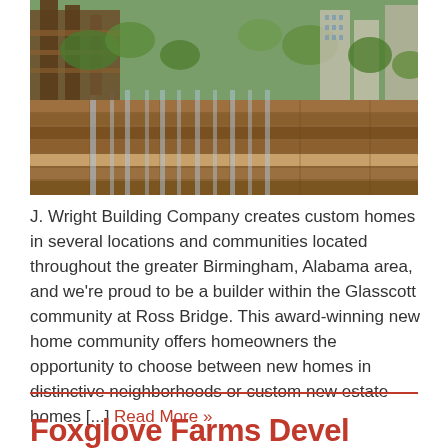[Figure (photo): Outdoor photo of a waterfall feature with stacked stone walls, rustic wooden structure, trees, and high-rise buildings in the background — a community landscaping feature at Ross Bridge.]
J. Wright Building Company creates custom homes in several locations and communities located throughout the greater Birmingham, Alabama area, and we're proud to be a builder within the Glasscott community at Ross Bridge. This award-winning new home community offers homeowners the opportunity to choose between new homes in distinctive neighborhoods or custom new estate homes [...] Read More »
Foxglove Farms Devel...